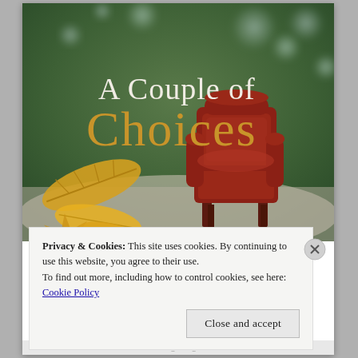[Figure (photo): Book cover image titled 'A Couple of Choices'. Background shows an outdoor autumn scene with blurred green trees and bokeh light. In the foreground are yellow/orange autumn leaves on the left, and a dark red/burgundy leather armchair in the center-right. The title text reads 'A Couple of' in white serif font and 'Choices' in large gold/amber serif font.]
Privacy & Cookies: This site uses cookies. By continuing to use this website, you agree to their use.
To find out more, including how to control cookies, see here:
Cookie Policy
Close and accept
WEBSITE_TITLE_HERE